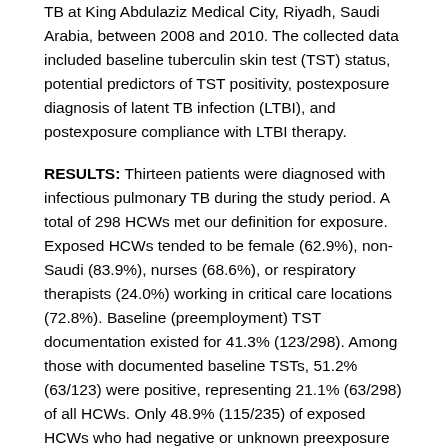TB at King Abdulaziz Medical City, Riyadh, Saudi Arabia, between 2008 and 2010. The collected data included baseline tuberculin skin test (TST) status, potential predictors of TST positivity, postexposure diagnosis of latent TB infection (LTBI), and postexposure compliance with LTBI therapy.
RESULTS: Thirteen patients were diagnosed with infectious pulmonary TB during the study period. A total of 298 HCWs met our definition for exposure. Exposed HCWs tended to be female (62.9%), non-Saudi (83.9%), nurses (68.6%), or respiratory therapists (24.0%) working in critical care locations (72.8%). Baseline (preemployment) TST documentation existed for 41.3% (123/298). Among those with documented baseline TSTs, 51.2% (63/123) were positive, representing 21.1% (63/298) of all HCWs. Only 48.9% (115/235) of exposed HCWs who had negative or unknown preexposure TST status had their TST tested after exposure. Approximately 46.1% (53/115) of them were diagnosed with postexposure LTBI, and 92.5% (49/53) of